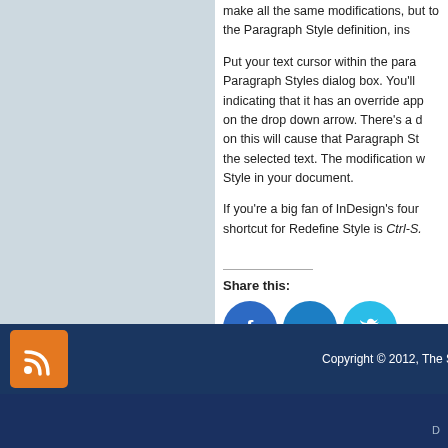make all the same modifications, but to the Paragraph Style definition, ins
Put your text cursor within the paragraph, open the Paragraph Styles dialog box. You'll indicating that it has an override applied, on the drop down arrow. There's a choice on this will cause that Paragraph Style to the selected text. The modification will Style in your document.
If you’re a big fan of InDesign’s found shortcut for Redefine Style is Ctrl-S.
Share this:
[Figure (infographic): Three social media sharing buttons: Facebook (blue circle with f icon), LinkedIn (blue circle with in icon), Twitter (light blue circle with bird icon)]
Leave a comment
← Older posts
Copyright © 2012, The S
D